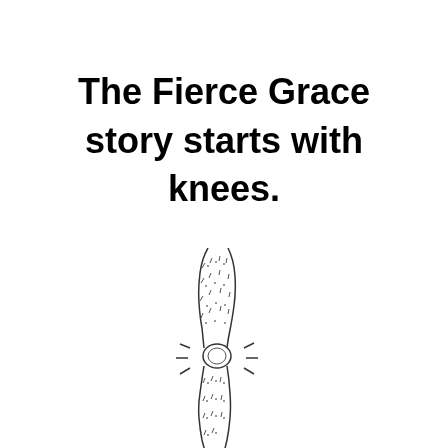The Fierce Grace story starts with knees.
[Figure (illustration): Line drawing illustration of a human knee joint showing the kneecap with motion lines radiating outward, suggesting pain or impact, with leg hair indicated by small marks on the skin above and below the knee.]